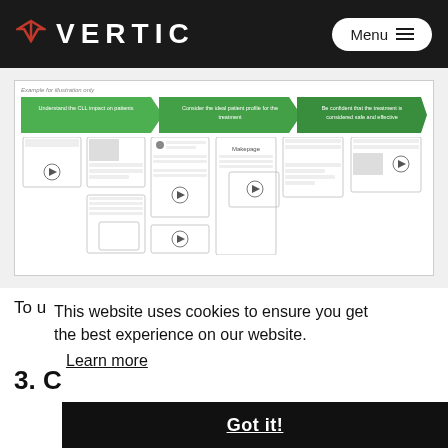VERTIC | Menu
[Figure (infographic): A workflow diagram showing three green arrow stages: 'Understand the CLL impact on patients', 'Consider the ideal patient profile for the treatment', 'Be confident that the treatment is considered safe and effective'. Below each stage are wireframe content cards representing patient education resources.]
To u
This website uses cookies to ensure you get the best experience on our website.
Learn more
3. C
Got it!
learning styles and level of complexity